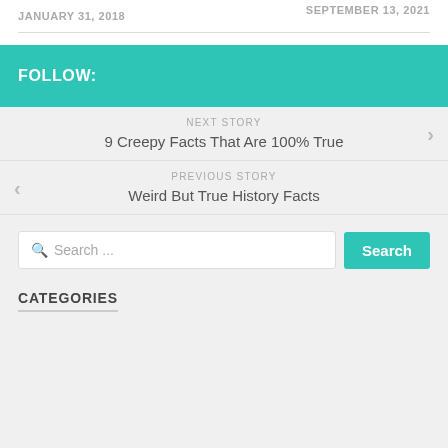SEPTEMBER 13, 2021
JANUARY 31, 2018
FOLLOW:
NEXT STORY
9 Creepy Facts That Are 100% True
PREVIOUS STORY
Weird But True History Facts
Search ...
CATEGORIES